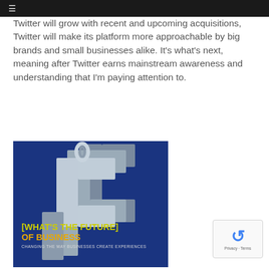≡
Twitter will grow with recent and upcoming acquisitions, Twitter will make its platform more approachable by big brands and small businesses alike. It's what's next, meaning after Twitter earns mainstream awareness and understanding that I'm paying attention to.
[Figure (illustration): Book cover for 'What's The Future of Business - Changing the Way Businesses Create Experiences' featuring 3D silver/gray chain-link structures on a dark blue background with yellow and white text.]